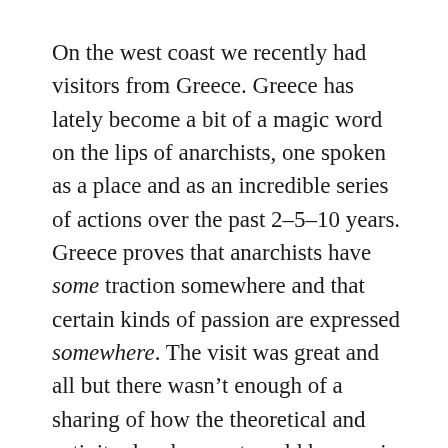On the west coast we recently had visitors from Greece. Greece has lately become a bit of a magic word on the lips of anarchists, one spoken as a place and as an incredible series of actions over the past 2–5–10 years. Greece proves that anarchists have some traction somewhere and that certain kinds of passion are expressed somewhere. The visit was great and all but there wasn't enough of a sharing of how the theoretical and activity development could happen in Greece when it so clearly has not happened in the rest of the West. Let's save that for another time.
One topic that the Greeks did cover fairly well